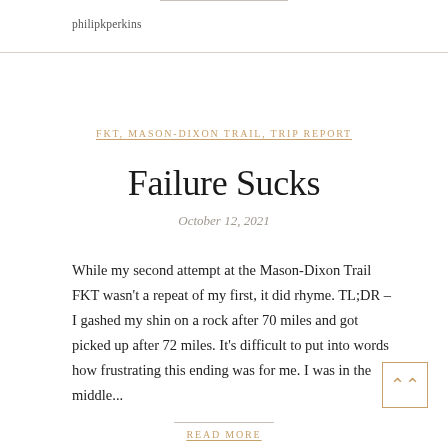philipkperkins
FKT, MASON-DIXON TRAIL, TRIP REPORT
Failure Sucks
October 12, 2021
While my second attempt at the Mason-Dixon Trail FKT wasn't a repeat of my first, it did rhyme. TL;DR – I gashed my shin on a rock after 70 miles and got picked up after 72 miles. It's difficult to put into words how frustrating this ending was for me. I was in the middle...
READ MORE